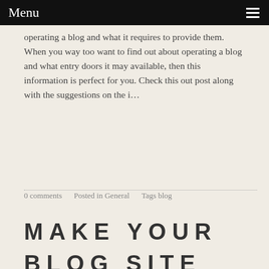Menu
operating a blog and what it requires to provide them. When you way too want to find out about operating a blog and what entry doors it may available, then this information is perfect for you. Check this out post along with the suggestions on the i…
Read more
0 comments   Posted in General   Tags blog
MAKE YOUR BLOG SITE IMPORTANT BY USING THESE